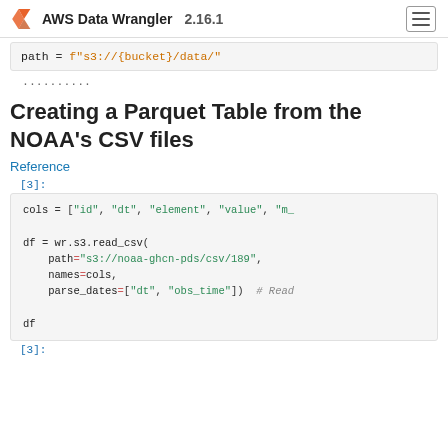AWS Data Wrangler 2.16.1
path = f"s3://{bucket}/data/"
..........
Creating a Parquet Table from the NOAA’s CSV files
Reference
[3]:
cols = ["id", "dt", "element", "value", "m_
df = wr.s3.read_csv(
    path="s3://noaa-ghcn-pds/csv/189",
    names=cols,
    parse_dates=["dt", "obs_time"])  # Read

df
[3]: